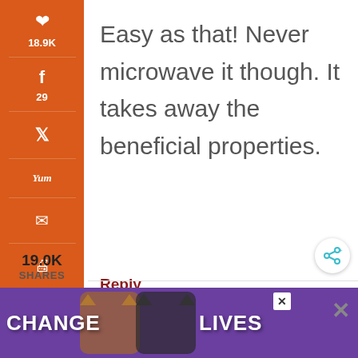[Figure (infographic): Social sharing sidebar with orange background showing Pinterest (18.9K), Facebook (29), Twitter, Yummly, Email, and Print icons]
Easy as that! Never microwave it though. It takes away the beneficial properties.
Reply
19.0K SHARES
TARA SAYS
[Figure (infographic): Advertisement banner with purple background showing cats and text 'CHANGE LIVES']